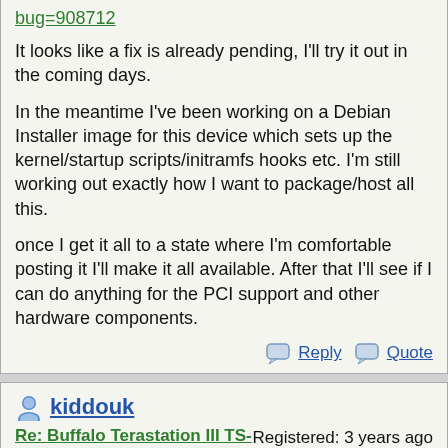bug=908712
It looks like a fix is already pending, I'll try it out in the coming days.
In the meantime I've been working on a Debian Installer image for this device which sets up the kernel/startup scripts/initramfs hooks etc. I'm still working out exactly how I want to package/host all this.
once I get it all to a state where I'm comfortable posting it I'll make it all available. After that I'll see if I can do anything for the PCI support and other hardware components.
Reply   Quote
kiddouk
Re: Buffalo Terastation III TS-X4.0L/r5 (Sakura) From Stock 1.71(Buffalo Latest FW) ==>Debian Jessie/Stretch
August 20, 2019 01:47AM
Registered: 3 years ago
Posts: 5
Sorry for the late reply, I ended up being overwelmed